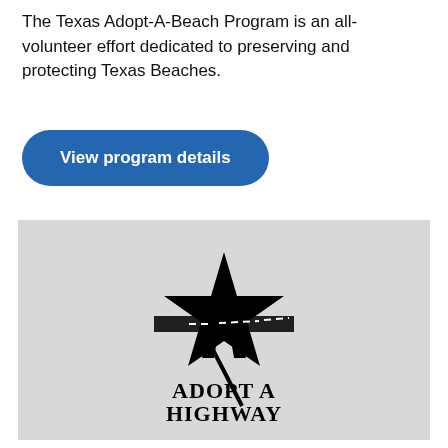The Texas Adopt-A-Beach Program is an all-volunteer effort dedicated to preserving and protecting Texas Beaches.
View program details
[Figure (logo): Adopt A Highway logo: a black star shape overlaid with a stylized letter A incorporating a road with dashed center line. Below reads 'ADOPT A HIGHWAY' in bold serif text.]